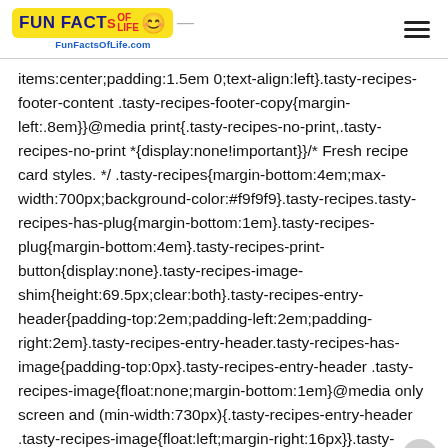FunFactsOfLife.com
items:center;padding:1.5em 0;text-align:left}.tasty-recipes-footer-content .tasty-recipes-footer-copy{margin-left:.8em}}@media print{.tasty-recipes-no-print,.tasty-recipes-no-print *{display:none!important}}/* Fresh recipe card styles. */ .tasty-recipes{margin-bottom:4em;max-width:700px;background-color:#f9f9f9}.tasty-recipes.tasty-recipes-has-plug{margin-bottom:1em}.tasty-recipes-plug{margin-bottom:4em}.tasty-recipes-print-button{display:none}.tasty-recipes-image-shim{height:69.5px;clear:both}.tasty-recipes-entry-header{padding-top:2em;padding-left:2em;padding-right:2em}.tasty-recipes-entry-header.tasty-recipes-has-image{padding-top:0px}.tasty-recipes-entry-header .tasty-recipes-image{float:none;margin-bottom:1em}@media only screen and (min-width:730px){.tasty-recipes-entry-header .tasty-recipes-image{float:left;margin-right:16px}}.tasty-recipes-entry-header .tasty-recipes-image img{float:none;height:150px;width:150px;object-